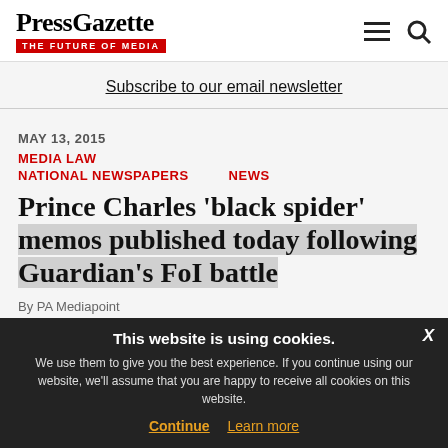PressGazette THE FUTURE OF MEDIA
Subscribe to our email newsletter
MAY 13, 2015
MEDIA LAW
NATIONAL NEWSPAPERS    NEWS
Prince Charles 'black spider' memos published today following Guardian's FoI battle
By PA Mediapoint
This website is using cookies. We use them to give you the best experience. If you continue using our website, we'll assume that you are happy to receive all cookies on this website.
Continue    Learn more